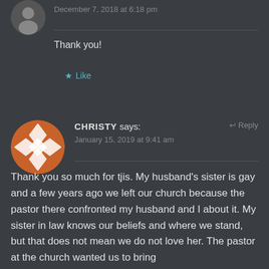December 7, 2018 at 6:18 pm
Thank you!
★ Like
CHRISTY says:
January 15, 2019 at 9:41 am
↩ Reply
Thank you so much for tjis. My husband's sister is gay and a few years ago we left our church because the pastor there confronted my husband and I about it. My sister in law knows our beliefs and where we stand, but that does not mean we do not love her. The pastor at the church wanted us to bring